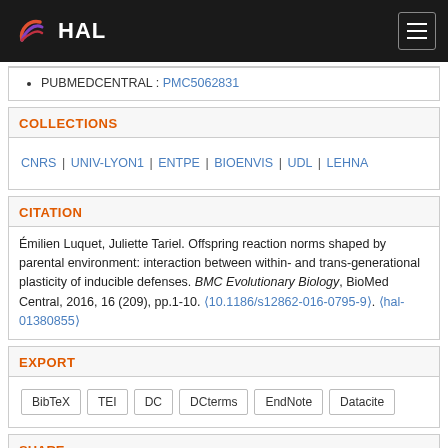HAL
PUBMEDCENTRAL : PMC5062831
COLLECTIONS
CNRS | UNIV-LYON1 | ENTPE | BIOENVIS | UDL | LEHNA
CITATION
Émilien Luquet, Juliette Tariel. Offspring reaction norms shaped by parental environment: interaction between within- and trans-generational plasticity of inducible defenses. BMC Evolutionary Biology, BioMed Central, 2016, 16 (209), pp.1-10. ⟨10.1186/s12862-016-0795-9⟩. ⟨hal-01380855⟩
EXPORT
BibTeX | TEI | DC | DCterms | EndNote | Datacite
SHARE